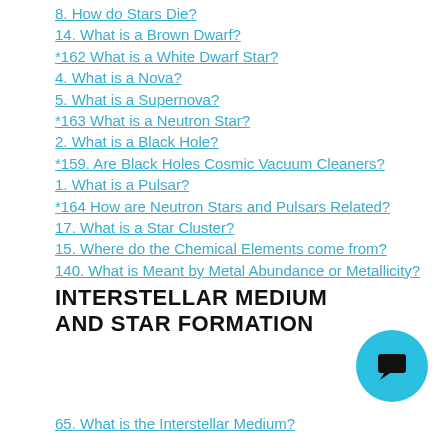8. How do Stars Die?
14. What is a Brown Dwarf?
*162 What is a White Dwarf Star?
4. What is a Nova?
5. What is a Supernova?
*163 What is a Neutron Star?
2. What is a Black Hole?
*159. Are Black Holes Cosmic Vacuum Cleaners?
1. What is a Pulsar?
*164 How are Neutron Stars and Pulsars Related?
17. What is a Star Cluster?
15. Where do the Chemical Elements come from?
140. What is Meant by Metal Abundance or Metallicity?
INTERSTELLAR MEDIUM AND STAR FORMATION
65. What is the Interstellar Medium?